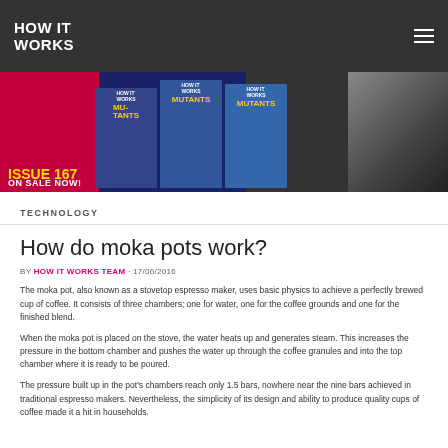HOW IT WORKS
[Figure (illustration): How It Works magazine Issue 167 promotional banner showing magazine covers with 'Meet The Mutants' theme, a snake, and science imagery. Yellow text reads 'ISSUE 167 ON SALE NOW!']
TECHNOLOGY
How do moka pots work?
BY HOW IT WORKS TEAM · 17/06/2016
The moka pot, also known as a stovetop espresso maker, uses basic physics to achieve a perfectly brewed cup of coffee. It consists of three chambers; one for water, one for the coffee grounds and one for the finished blend.
When the moka pot is placed on the stove, the water heats up and generates steam. This increases the pressure in the bottom chamber and pushes the water up through the coffee granules and into the top chamber where it is ready to be poured.
The pressure built up in the pot's chambers reach only 1.5 bars, nowhere near the nine bars achieved in traditional espresso makers. Nevertheless, the simplicity of its design and ability to produce quality cups of coffee made it a hit in households.